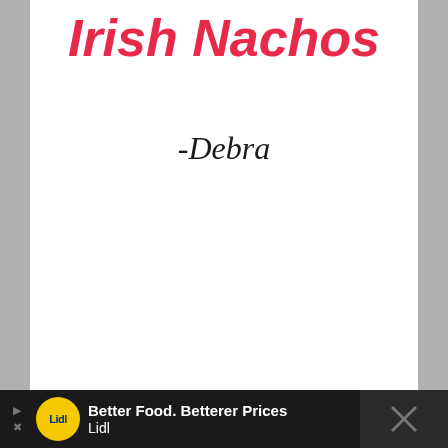Irish Nachos
-Debra
[Figure (other): Advertisement bar at bottom: Lidl logo with text 'Better Food. Betterer Prices' and 'Lidl' on dark background]